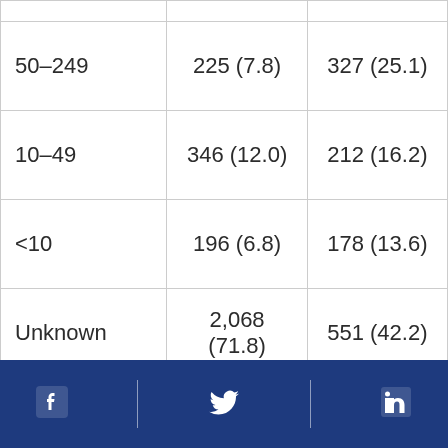|  |  |  |
| --- | --- | --- |
| 50–249 | 225 (7.8) | 327 (25.1) |
| 10–49 | 346 (12.0) | 212 (16.2) |
| <10 | 196 (6.8) | 178 (13.6) |
| Unknown | 2,068 (71.8) | 551 (42.2) |
| Total | 2,881 | 1,305 |
[Figure (infographic): Footer bar with Facebook, Twitter, and LinkedIn social media icons on a dark navy blue background]